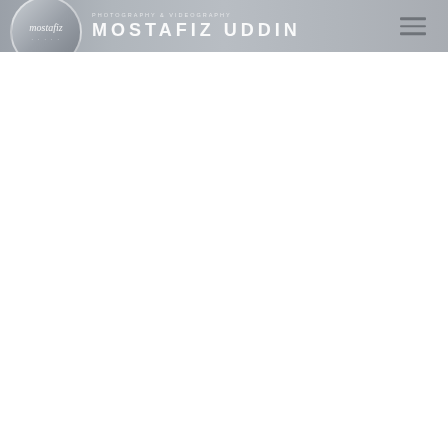MOSTAFIZ UDDIN
[Figure (logo): Circular logo with cursive/handwritten 'mostafiz' text and decorative dots below, on a grey gradient background]